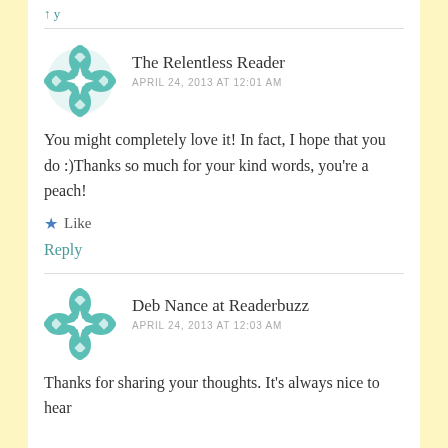↑ y
The Relentless Reader
APRIL 24, 2013 AT 12:01 AM
You might completely love it! In fact, I hope that you do :)Thanks so much for your kind words, you're a peach!
★ Like
Reply
Deb Nance at Readerbuzz
APRIL 24, 2013 AT 12:03 AM
Thanks for sharing your thoughts. It's always nice to hear